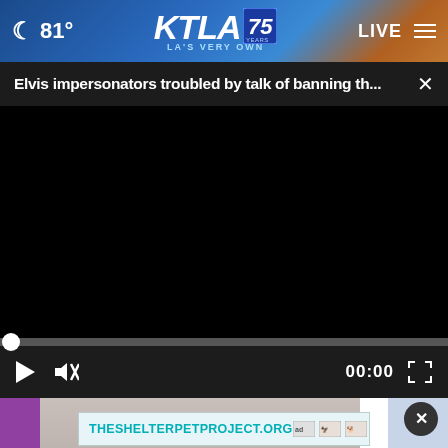[Figure (screenshot): KTLA 75 Years logo with navigation bar showing moon icon, 81° temperature, KTLA 75 Years - LA's Very Own branding, LIVE badge, and hamburger menu on a blue gradient background with palm trees]
Elvis impersonators troubled by talk of banning th...
[Figure (screenshot): Black video player area with progress bar and playback controls showing play button, mute icon, 00:00 timestamp, and fullscreen button]
[Figure (screenshot): Partial view of person below video player with close button overlay and THESHELTERPETPROJECT.ORG advertisement banner]